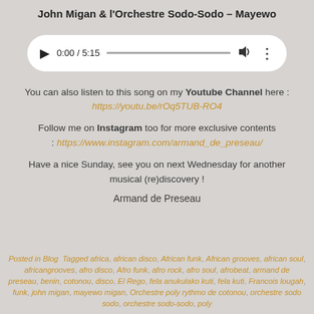John Migan & l'Orchestre Sodo-Sodo – Mayewo
[Figure (other): Audio player widget showing 0:00 / 5:15 with play button, progress bar, volume icon, and options icon]
You can also listen to this song on my Youtube Channel here : https://youtu.be/rOq5TUB-RO4
Follow me on Instagram too for more exclusive contents : https://www.instagram.com/armand_de_preseau/
Have a nice Sunday, see you on next Wednesday for another musical (re)discovery !
Armand de Preseau
Posted in Blog  Tagged africa, african disco, African funk, African grooves, african soul, africangrooves, afro disco, Afro funk, afro rock, afro soul, afrobeat, armand de preseau, benin, cotonou, disco, El Rego, fela anukulako kuti, fela kuti, Francois lougah, funk, john migan, mayewo migan, Orchestre poly rythmo de cotonou, orchestre sodo sodo, orchestre sodo-sodo, poly